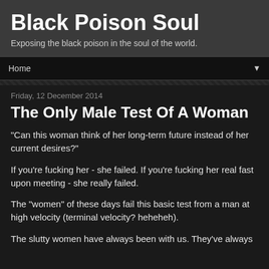Black Poison Soul
Exposing the black poison in the soul of the world.
Home
Friday, 12 December 2014
The Only Male Test Of A Woman
"Can this woman think of her long-term future instead of her current desires?"
If you're fucking her - she failed. If you're fucking her real fast upon meeting - she really failed.
The "women" of these days fail this basic test from a man at high velocity (terminal velocity? heheheh).
The slutty women have always been with us. They've always